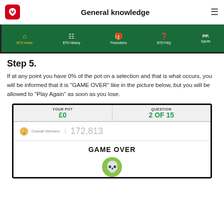General knowledge
[Figure (screenshot): Navigation bar showing BTD Home, BTD History, Promotions, BTD FAQ, Sports tabs on a green background]
Step 5.
If at any point you have 0% of the pot on a selection and that is what occurs, you will be informed that it is "GAME OVER" like in the picture below, but you will be allowed to "Play Again" as soon as you lose.
[Figure (screenshot): Game over screen showing YOUR POT £0, QUESTION 2 OF 15, Overall Winners 172,813, GAME OVER text and skull emoji]